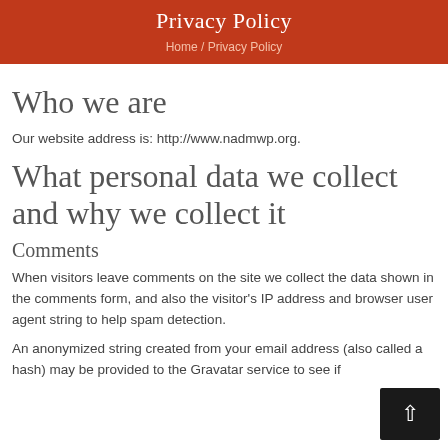Privacy Policy
Home / Privacy Policy
Who we are
Our website address is: http://www.nadmwp.org.
What personal data we collect and why we collect it
Comments
When visitors leave comments on the site we collect the data shown in the comments form, and also the visitor’s IP address and browser user agent string to help spam detection.
An anonymized string created from your email address (also called a hash) may be provided to the Gravatar service to see if